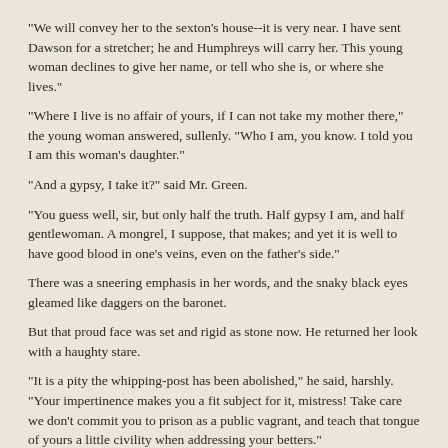"We will convey her to the sexton's house--it is very near. I have sent Dawson for a stretcher; he and Humphreys will carry her. This young woman declines to give her name, or tell who she is, or where she lives."
"Where I live is no affair of yours, if I can not take my mother there," the young woman answered, sullenly. "Who I am, you know. I told you I am this woman's daughter."
"And a gypsy, I take it?" said Mr. Green.
"You guess well, sir, but only half the truth. Half gypsy I am, and half gentlewoman. A mongrel, I suppose, that makes; and yet it is well to have good blood in one's veins, even on the father's side."
There was a sneering emphasis in her words, and the snaky black eyes gleamed like daggers on the baronet.
But that proud face was set and rigid as stone now. He returned her look with a haughty stare.
"It is a pity the whipping-post has been abolished," he said, harshly. "Your impertinence makes you a fit subject for it, mistress! Take care we don't commit you to prison as a public vagrant, and teach that tongue of yours a little civility when addressing your betters."
"My betters!" the girl hissed, in a fierce, sibilant whisper. "Why, yes, I suppose a daughter should look upon a father in that light. As to the whipping-post and prison, try it at your peril! Try it, if you dare, Sir Jasper."